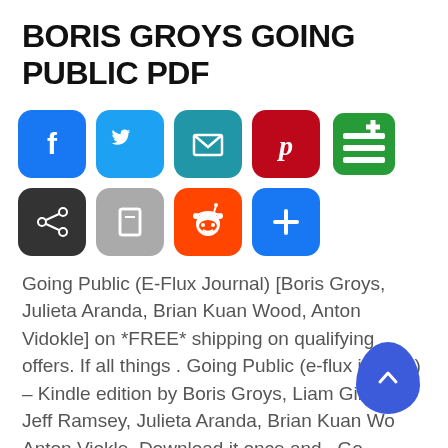BORIS GROYS GOING PUBLIC PDF
[Figure (infographic): Row of social share buttons: Facebook (blue), Twitter (blue), Email (teal), Pinterest (red), Add (green), Share network (dark), Save (gray), Reddit (orange), Plus/more (blue)]
Going Public (E-Flux Journal) [Boris Groys, Julieta Aranda, Brian Kuan Wood, Anton Vidokle] on *FREE* shipping on qualifying offers. If all things . Going Public (e-flux journal) – Kindle edition by Boris Groys, Liam Gillick, Jeff Ramsey, Julieta Aranda, Brian Kuan Wood, Anton Viokle. Download it once and . Going Public has ratings and 8 reviews. Lauringui said: